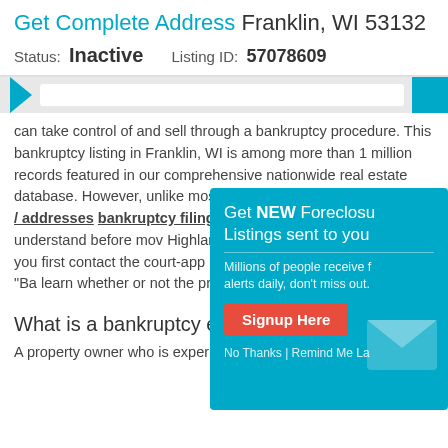Get Complete Address Franklin, WI 53132
Status: Inactive    Listing ID: 57078609
can take control of and sell through a bankruptcy procedure. This bankruptcy listing in Franklin, WI is among more than 1 million records featured in our comprehensive nationwide real estate database. However, unlike most property records, not all homes / addresses with a bankruptcy filing are for sale. This is an important concept to understand before moving forward. Highland Park Ave Apt 804 Franklin, WI. We suggest that you first contact the court-appointed trustee listed below (scroll down) under "Ba..." to learn whether or not the property is available for sale.
[Figure (screenshot): Popup overlay: Get NEW Foreclosure Listings sent to you. Millions of people receive foreclosure alerts daily, don't miss out. Signup Here button. No Thanks | Remind Me Later.]
What is a bankruptcy estate?
A property owner who is experiencing difficult financial